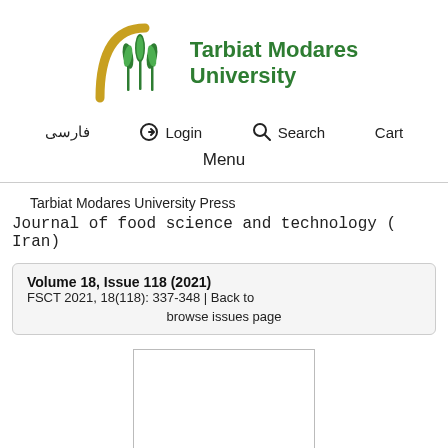[Figure (logo): Tarbiat Modares University logo with stylized grain/wheat graphic in green and gold arc, and green bold text reading Tarbiat Modares University]
فارسی   Login   Search   Cart
Menu
Tarbiat Modares University Press
Journal of food science and technology ( Iran)
| Volume 18, Issue 118 (2021) | FSCT 2021, 18(118): 337-348 | Back to browse issues page |
[Figure (other): White rectangular placeholder box for article image or cover]